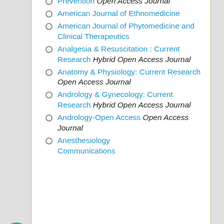Prevention Open Access Journal
American Journal of Ethnomedicine
American Journal of Phytomedicine and Clinical Therapeutics
Analgesia & Resuscitation : Current Research Hybrid Open Access Journal
Anatomy & Physiology: Current Research Open Access Journal
Andrology & Gynecology: Current Research Hybrid Open Access Journal
Andrology-Open Access Open Access Journal
Anesthesiology Communications